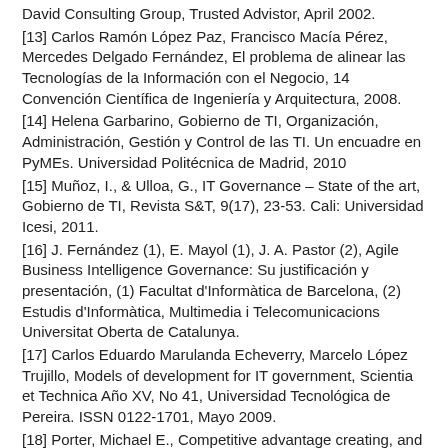David Consulting Group, Trusted Advistor, April 2002.
[13] Carlos Ramón López Paz, Francisco Macía Pérez, Mercedes Delgado Fernández, El problema de alinear las Tecnologías de la Información con el Negocio, 14 Convención Científica de Ingeniería y Arquitectura, 2008.
[14] Helena Garbarino, Gobierno de TI, Organización, Administración, Gestión y Control de las TI. Un encuadre en PyMEs. Universidad Politécnica de Madrid, 2010
[15] Muñoz, I., & Ulloa, G., IT Governance – State of the art, Gobierno de TI, Revista S&T, 9(17), 23-53. Cali: Universidad Icesi, 2011.
[16] J. Fernández (1), E. Mayol (1), J. A. Pastor (2), Agile Business Intelligence Governance: Su justificación y presentación, (1) Facultat d'Informàtica de Barcelona, (2) Estudis d'Informàtica, Multimedia i Telecomunicacions Universitat Oberta de Catalunya.
[17] Carlos Eduardo Marulanda Echeverry, Marcelo López Trujillo, Models of development for IT government, Scientia et Technica Año XV, No 41, Universidad Tecnológica de Pereira. ISSN 0122-1701, Mayo 2009.
[18] Porter, Michael E., Competitive advantage creating, and sustaining superior performance, Editorial: Free Press, New York, 1985.